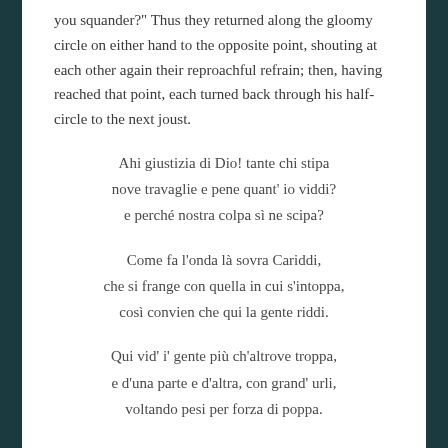you squander?" Thus they returned along the gloomy circle on either hand to the opposite point, shouting at each other again their reproachful refrain; then, having reached that point, each turned back through his half-circle to the next joust.
Ahi giustizia di Dio! tante chi stipa
nove travaglie e pene quant' io viddi?
e perché nostra colpa sì ne scipa?
Come fa l'onda là sovra Cariddi,
che si frange con quella in cui s'intoppa,
così convien che qui la gente riddi.
Qui vid' i' gente più ch'altrove troppa,
e d'una parte e d'altra, con grand' urli,
voltando pesi per forza di poppa.